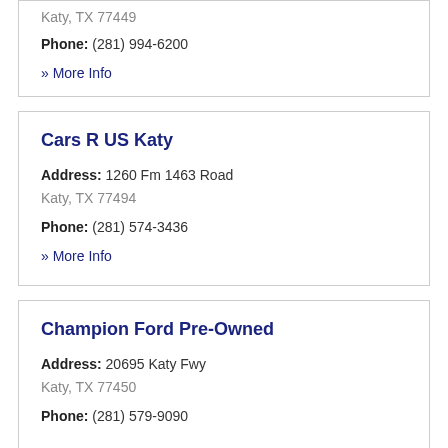Katy, TX 77449
Phone: (281) 994-6200
» More Info
Cars R US Katy
Address: 1260 Fm 1463 Road
Katy, TX 77494
Phone: (281) 574-3436
» More Info
Champion Ford Pre-Owned
Address: 20695 Katy Fwy
Katy, TX 77450
Phone: (281) 579-9090